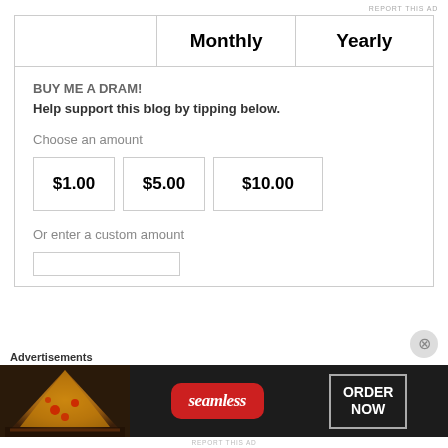REPORT THIS AD
|  | Monthly | Yearly |
| --- | --- | --- |
| BUY ME A DRAM!
Help support this blog by tipping below.

Choose an amount

$1.00  $5.00  $10.00

Or enter a custom amount |  |  |
BUY ME A DRAM!
Help support this blog by tipping below.
Choose an amount
$1.00
$5.00
$10.00
Or enter a custom amount
Advertisements
[Figure (illustration): Seamless food delivery advertisement banner showing pizza slices on dark background with Seamless logo and ORDER NOW button]
REPORT THIS AD